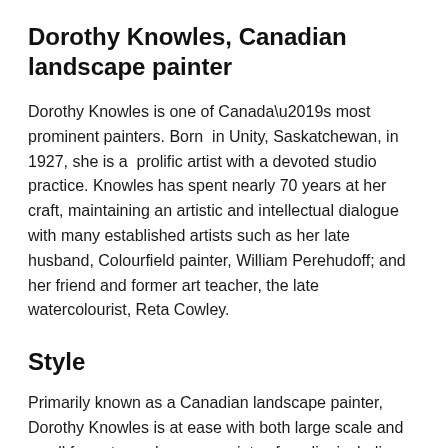Dorothy Knowles, Canadian landscape painter
Dorothy Knowles is one of Canada’s most prominent painters. Born in Unity, Saskatchewan, in 1927, she is a prolific artist with a devoted studio practice. Knowles has spent nearly 70 years at her craft, maintaining an artistic and intellectual dialogue with many established artists such as her late husband, Colourfield painter, William Perehudoff; and her friend and former art teacher, the late watercolourist, Reta Cowley.
Style
Primarily known as a Canadian landscape painter, Dorothy Knowles is at ease with both large scale and small formats, and uses a variety of media, including acrylic, oil and water colour paint, charcoal and pastel.